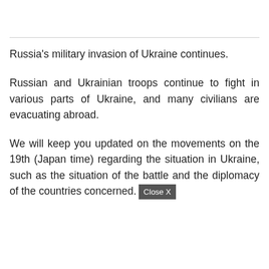Russia's military invasion of Ukraine continues.
Russian and Ukrainian troops continue to fight in various parts of Ukraine, and many civilians are evacuating abroad.
We will keep you updated on the movements on the 19th (Japan time) regarding the situation in Ukraine, such as the situation of the battle and the diplomacy of the countries concerned.